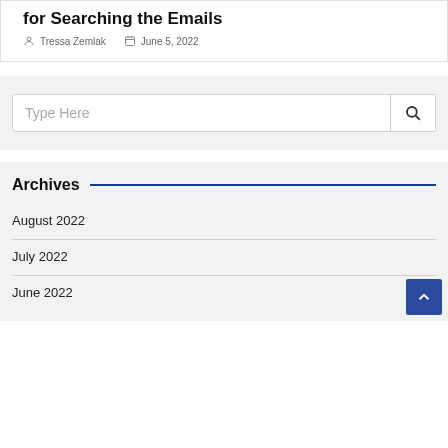for Searching the Emails
Tressa Zemlak   June 5, 2022
[Figure (other): Search box with placeholder text 'Type Here' and a search icon button]
Archives
August 2022
July 2022
June 2022